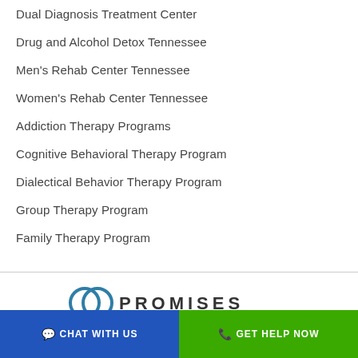Dual Diagnosis Treatment Center
Drug and Alcohol Detox Tennessee
Men's Rehab Center Tennessee
Women's Rehab Center Tennessee
Addiction Therapy Programs
Cognitive Behavioral Therapy Program
Dialectical Behavior Therapy Program
Group Therapy Program
Family Therapy Program
[Figure (logo): Promises treatment center logo with overlapping circles and PROMISES text]
CHAT WITH US  |  GET HELP NOW